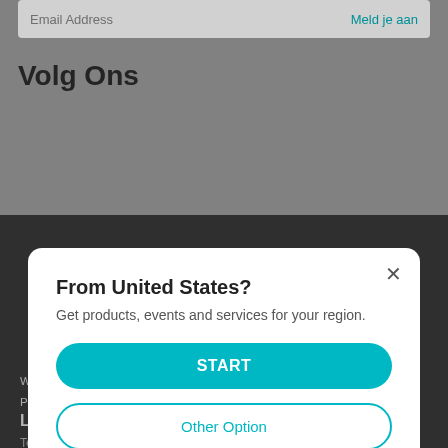Email Address
Meld je aan
Volg Ons
[Figure (screenshot): Modal dialog overlay on a website with 'From United States?' heading, descriptive text, START button, and Other Option button]
From United States?
Get products, events and services for your region.
START
Other Option
Werken bij TP-Link
Beveiligingsadvies
B2B Partners
Privacy Policy
online winkels
Learning Center
Technology Library